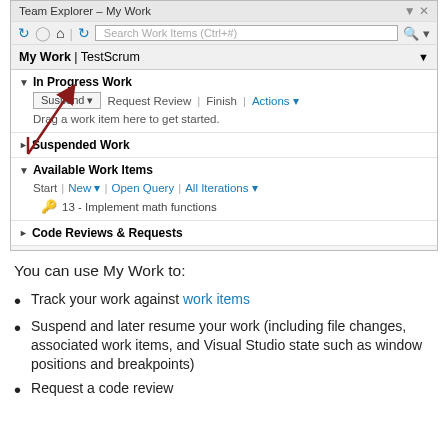[Figure (screenshot): Visual Studio Team Explorer - My Work panel showing In Progress Work section with Suspend button, Request Review, Finish, Actions options, a note 'Drag a work item here to get started.', Suspended Work section, Available Work Items section with Start, New, Open Query, All Iterations options and item '13 - Implement math functions', and Code Reviews & Requests section. A red arrow annotation points to the Suspend button area.]
You can use My Work to:
Track your work against work items
Suspend and later resume your work (including file changes, associated work items, and Visual Studio state such as window positions and breakpoints)
Request a code review
Automatically update your work items when you check in your source code